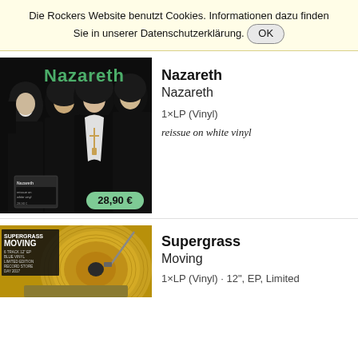Die Rockers Website benutzt Cookies. Informationen dazu finden Sie in unserer Datenschutzerklärung. OK
[Figure (photo): Nazareth album cover – black and white image of four band members, 'Nazareth' written in green text at top. Price badge '28,90 €' in green oval at bottom right. Small inset album thumbnail in lower left corner.]
Nazareth
Nazareth
1×LP (Vinyl)
reissue on white vinyl
[Figure (photo): Supergrass Moving album cover – golden/yellow vinyl record on turntable, text overlay in upper left reading 'SUPERGRASS MOVING 6 TRACK 12"EP BLUE VINYL LIMITED EDITION RECORD STORE DAY 2017']
Supergrass
Moving
1×LP (Vinyl) · 12", EP, Limited